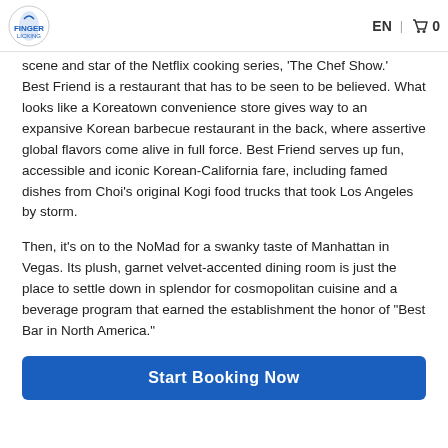EN | 🛒 0
scene and star of the Netflix cooking series, 'The Chef Show.' Best Friend is a restaurant that has to be seen to be believed. What looks like a Koreatown convenience store gives way to an expansive Korean barbecue restaurant in the back, where assertive global flavors come alive in full force. Best Friend serves up fun, accessible and iconic Korean-California fare, including famed dishes from Choi's original Kogi food trucks that took Los Angeles by storm.
Then, it's on to the NoMad for a swanky taste of Manhattan in Vegas. Its plush, garnet velvet-accented dining room is just the place to settle down in splendor for cosmopolitan cuisine and a beverage program that earned the establishment the honor of "Best Bar in North America."
Start Booking Now